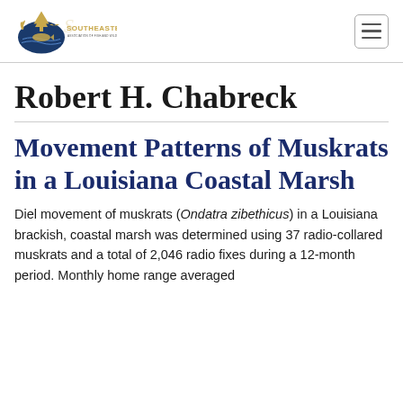[Figure (logo): Southeastern Association of Fish and Wildlife Agencies logo with tree, fish, bird, and deer silhouettes in gold and blue]
Robert H. Chabreck
Movement Patterns of Muskrats in a Louisiana Coastal Marsh
Diel movement of muskrats (Ondatra zibethicus) in a Louisiana brackish, coastal marsh was determined using 37 radio-collared muskrats and a total of 2,046 radio fixes during a 12-month period. Monthly home range averaged